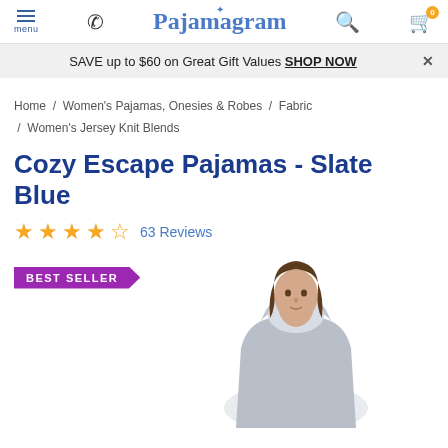Pajamagram menu | phone | search | cart
SAVE up to $60 on Great Gift Values SHOP NOW ×
Home / Women's Pajamas, Onesies & Robes / Fabric / Women's Jersey Knit Blends
Cozy Escape Pajamas - Slate Blue
★★★★½ 63 Reviews
[Figure (photo): Model wearing slate blue hoodie pajamas, with a BEST SELLER badge overlay in purple]